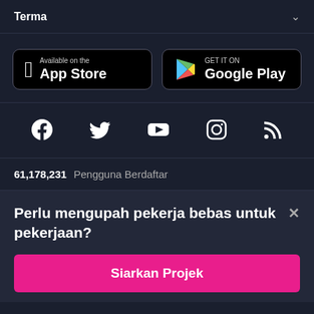Terma
[Figure (logo): App Store button - Available on the App Store]
[Figure (logo): Google Play button - GET IT ON Google Play]
[Figure (infographic): Social media icons: Facebook, Twitter, YouTube, Instagram, RSS Feed]
61,178,231 Pengguna Berdaftar
Perlu mengupah pekerja bebas untuk pekerjaan?
Siarkan Projek